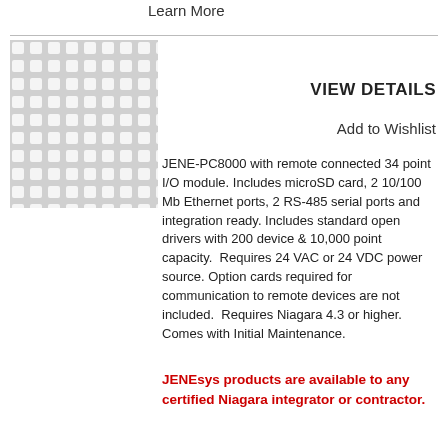Learn More
[Figure (photo): Product image showing a grey perforated/mesh pattern panel for JENE-PC8000]
VIEW DETAILS
Add to Wishlist
JENE-PC8000 with remote connected 34 point I/O module. Includes microSD card, 2 10/100 Mb Ethernet ports, 2 RS-485 serial ports and integration ready. Includes standard open drivers with 200 device & 10,000 point capacity.  Requires 24 VAC or 24 VDC power source. Option cards required for communication to remote devices are not included.  Requires Niagara 4.3 or higher.  Comes with Initial Maintenance.
JENEsys products are available to any certified Niagara integrator or contractor.